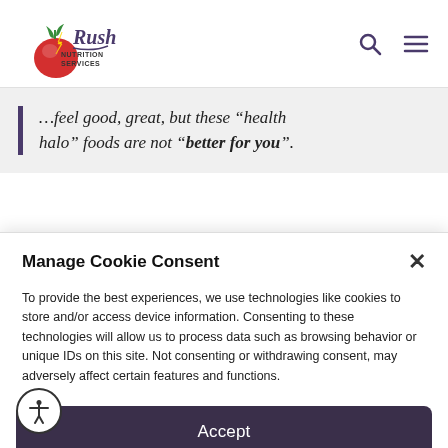[Figure (logo): Rush Nutrition Services logo with stylized cursive text and tomato graphic]
…feel good, great, but these 'health halo' foods are not 'better for you'.
Manage Cookie Consent
To provide the best experiences, we use technologies like cookies to store and/or access device information. Consenting to these technologies will allow us to process data such as browsing behavior or unique IDs on this site. Not consenting or withdrawing consent, may adversely affect certain features and functions.
Accept